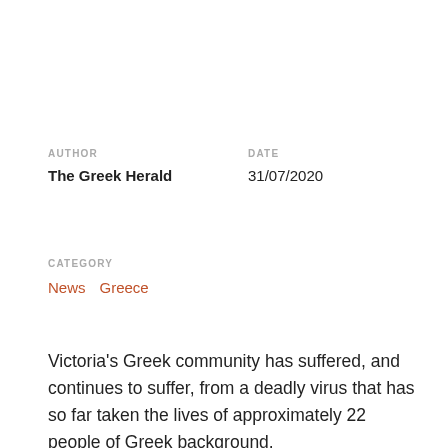AUTHOR
The Greek Herald
DATE
31/07/2020
CATEGORY
News   Greece
Victoria's Greek community has suffered, and continues to suffer, from a deadly virus that has so far taken the lives of approximately 22 people of Greek background.